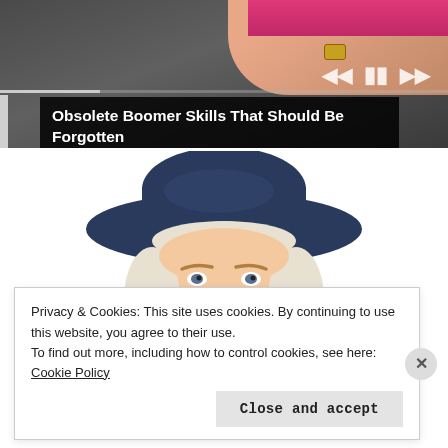[Figure (screenshot): Video thumbnail showing a person's arm with pink sleeve and watch, with media player controls (skip back, pause, skip forward) visible. A progress bar is shown.]
Obsolete Boomer Skills That Should Be Forgotten
[Figure (illustration): Illustration of the Quaker Oats man — an elderly man with white hair and a dark navy cowboy hat, smiling warmly.]
Privacy & Cookies: This site uses cookies. By continuing to use this website, you agree to their use.
To find out more, including how to control cookies, see here: Cookie Policy
Close and accept